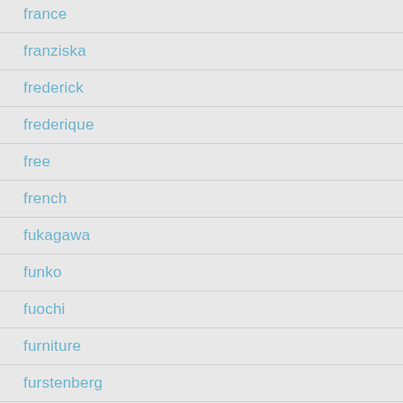france
franziska
frederick
frederique
free
french
fukagawa
funko
fuochi
furniture
furstenberg
g-shockdragon
garage